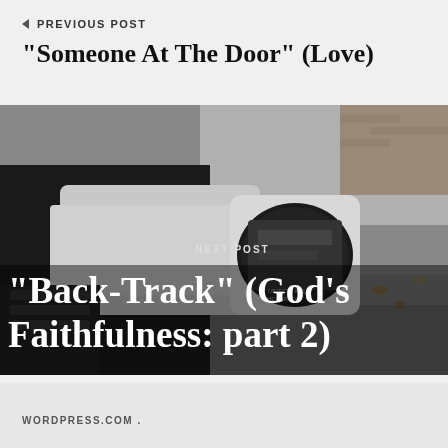PREVIOUS POST
"Someone At The Door" (Love)
[Figure (photo): Car side mirror photo with 'NEXT POST' label and next post title overlaid. The mirror reflects a driveway scene.]
NEXT POST
"Back-Track" (God's Faithfulness: part 2)
WORDPRESS.COM .